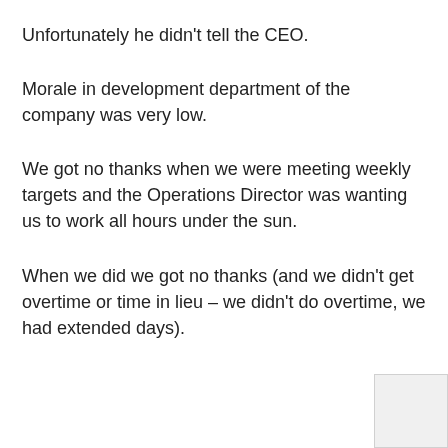Unfortunately he didn't tell the CEO.
Morale in development department of the company was very low.
We got no thanks when we were meeting weekly targets and the Operations Director was wanting us to work all hours under the sun.
When we did we got no thanks (and we didn't get overtime or time in lieu – we didn't do overtime, we had extended days).